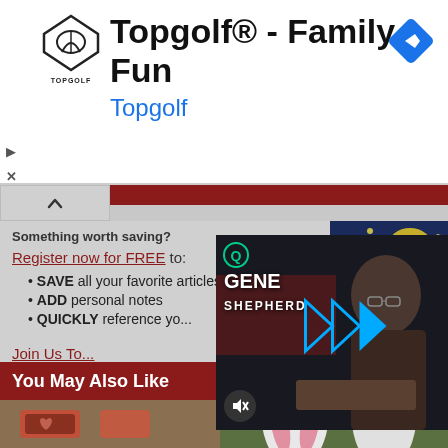[Figure (screenshot): Topgolf advertisement banner with logo, title 'Topgolf® - Family Fun', subtitle 'Topgolf', play/close icons, and a blue diamond navigation icon]
Something worth saving?
Register now for FREE to:
SAVE all your favorite articles
ADD personal notes
QUICKLY reference yo...
Join Us To...
[Figure (photo): Van Gogh Starry Night style painting thumbnail]
[Figure (screenshot): Video overlay showing Gene Shepherd with play button and mute button]
You May Also Like
[Figure (photo): Bottom thumbnail images strip showing two photos]